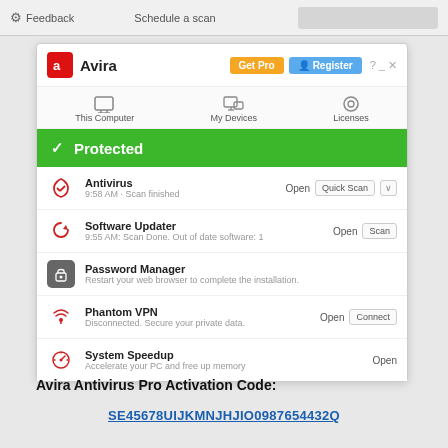[Figure (screenshot): Top bar of a Windows application showing gear icon, Feedback label, and Schedule a scan button]
[Figure (screenshot): Avira Antivirus application window showing Protected status with features: Antivirus (9:58 AM Scan finished), Software Updater (9:55 AM Scan Done. Out of date software: 1), Password Manager (Restart your web browser to complete the installation.), Phantom VPN (Disconnected. Secure your private data.), System Speedup (Accelerate your PC and free up memory).]
Avira Antivirus Pro Activation Code:
SE45678UIJKMNJHJIO0987654432Q